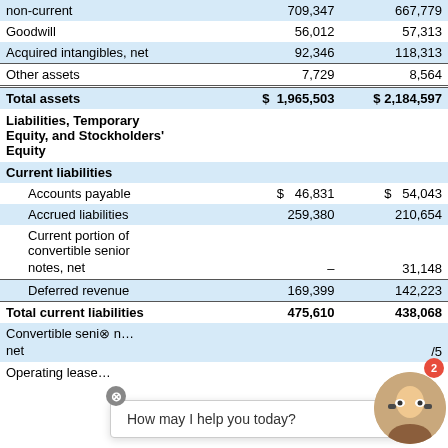|  |  |  |
| --- | --- | --- |
| non-current | 709,347 | 667,779 |
| Goodwill | 56,012 | 57,313 |
| Acquired intangibles, net | 92,346 | 118,313 |
| Other assets | 7,729 | 8,564 |
| Total assets | $ 1,965,503 | $ 2,184,597 |
| Liabilities, Temporary Equity, and Stockholders' Equity |  |  |
| Current liabilities |  |  |
| Accounts payable | $ 46,831 | $ 54,043 |
| Accrued liabilities | 259,380 | 210,654 |
| Current portion of convertible senior notes, net | – | 31,148 |
| Deferred revenue | 169,399 | 142,223 |
| Total current liabilities | 475,610 | 438,068 |
| Convertible senior … net |  | /5 |
| Operating lease … |  |  |